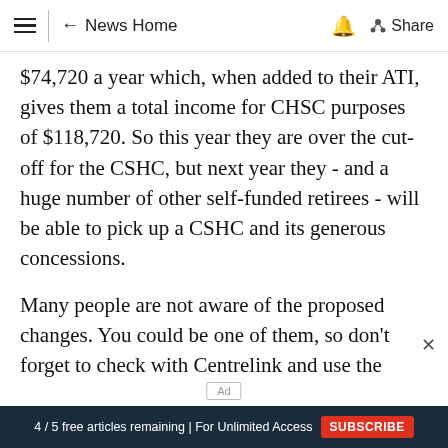≡ | ← News Home 🔔 Share
$74,720 a year which, when added to their ATI, gives them a total income for CHSC purposes of $118,720. So this year they are over the cut-off for the CSHC, but next year they - and a huge number of other self-funded retirees - will be able to pick up a CSHC and its generous concessions.
Many people are not aware of the proposed changes. You could be one of them, so don't forget to check with Centrelink and use the
4 / 5 free articles remaining | For Unlimited Access SUBSCRIBE